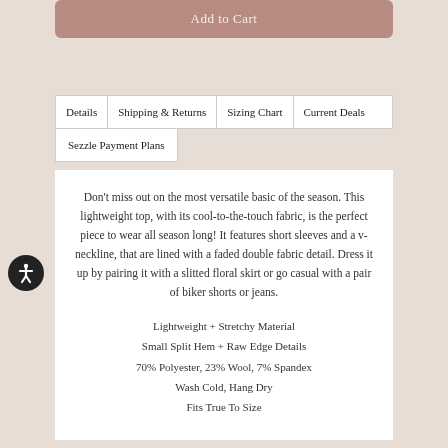Add to Cart
Details | Shipping & Returns | Sizing Chart | Current Deals | Sezzle Payment Plans
Don't miss out on the most versatile basic of the season. This lightweight top, with its cool-to-the-touch fabric, is the perfect piece to wear all season long! It features short sleeves and a v-neckline, that are lined with a faded double fabric detail. Dress it up by pairing it with a slitted floral skirt or go casual with a pair of biker shorts or jeans.
Lightweight + Stretchy Material
Small Split Hem + Raw Edge Details
70% Polyester, 23% Wool, 7% Spandex
Wash Cold, Hang Dry
Fits True To Size